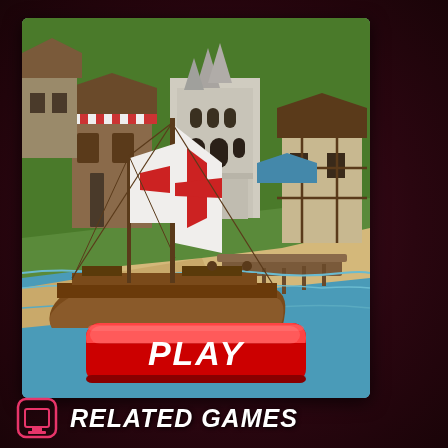[Figure (screenshot): A city-building strategy game screenshot showing a medieval port town with a large ornate church/cathedral building in the center, surrounded by wooden merchant buildings, a sandy beach with a wooden dock/pier, and a large sailing ship with white and red sails in the foreground water. A red PLAY button is overlaid at the bottom center of the screenshot.]
RELATED GAMES